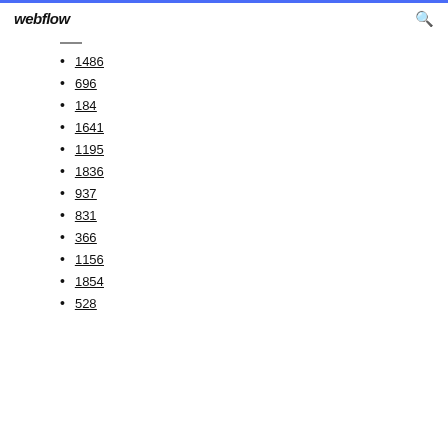webflow
1486
696
184
1641
1195
1836
937
831
366
1156
1854
528